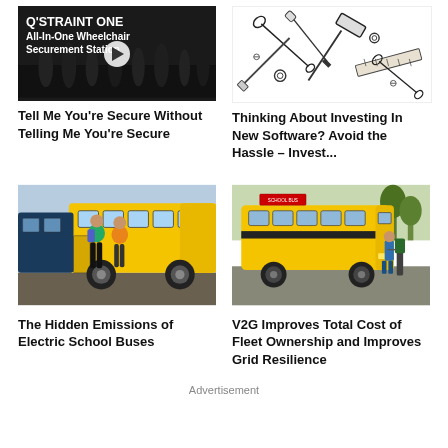[Figure (screenshot): Video thumbnail: Q'STRAINT ONE All-In-One Wheelchair Securement Station with play button overlay on dark background]
[Figure (illustration): Black and white line illustration showing scattered tools and hardware items]
Tell Me You're Secure Without Telling Me You're Secure
Thinking About Investing In New Software? Avoid the Hassle – Invest...
[Figure (photo): Two children walking in front of yellow school bus]
[Figure (photo): Yellow school bus with person standing beside it, outdoors]
The Hidden Emissions of Electric School Buses
V2G Improves Total Cost of Fleet Ownership and Improves Grid Resilience
Advertisement